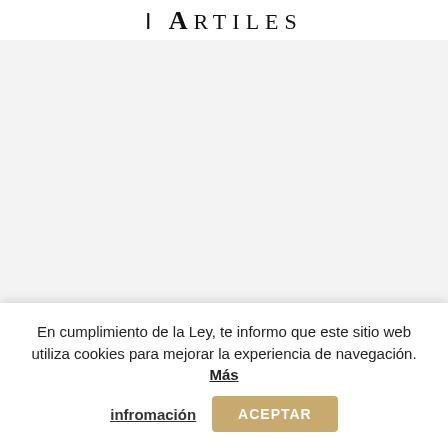ARTILES
[Figure (photo): Gray background content area placeholder]
Ariadne Artiles15 de septiembre, 10
En cumplimiento de la Ley, te informo que este sitio web utiliza cookies para mejorar la experiencia de navegación. Más infromación
ACEPTAR